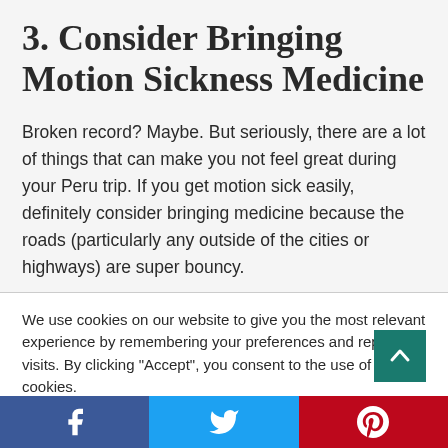3. Consider Bringing Motion Sickness Medicine
Broken record? Maybe. But seriously, there are a lot of things that can make you not feel great during your Peru trip. If you get motion sick easily, definitely consider bringing medicine because the roads (particularly any outside of the cities or highways) are super bouncy.
We use cookies on our website to give you the most relevant experience by remembering your preferences and repeat visits. By clicking “Accept”, you consent to the use of ALL the cookies.
Do not my personal information.